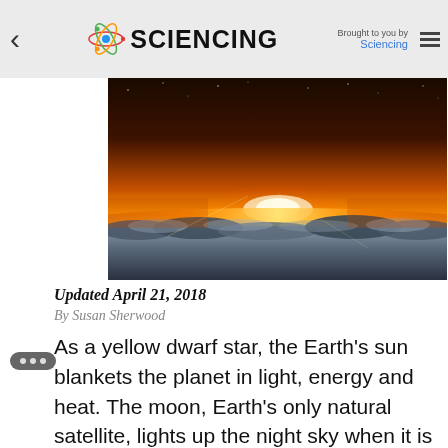SCIENCING — Brought to you by Sciencing
[Figure (photo): Dramatic photo of Earth's atmosphere viewed from above clouds, with the sun rising on the horizon creating an orange and golden glow over a sea of clouds]
Updated April 21, 2018
By Susan Sherwood
As a yellow dwarf star, the Earth's sun blankets the planet in light, energy and heat. The moon, Earth's only natural satellite, lights up the night sky when it is full. It affects the height and strength of the tides in all of its phases, and is the fifth largest